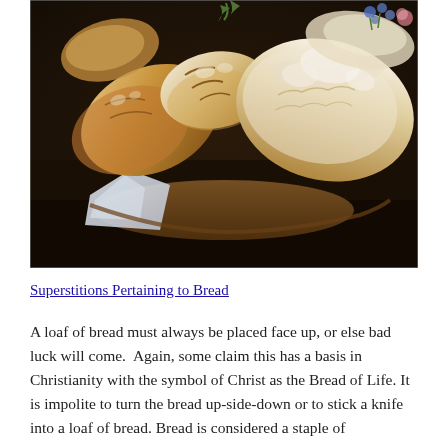[Figure (photo): A basket overflowing with various rustic artisan bread loaves with floury crusts, photographed from above on a dark wooden table.]
Superstitions Pertaining to Bread
A loaf of bread must always be placed face up, or else bad luck will come. Again, some claim this has a basis in Christianity with the symbol of Christ as the Bread of Life. It is impolite to turn the bread up-side-down or to stick a knife into a loaf of bread. Bread is considered a staple of